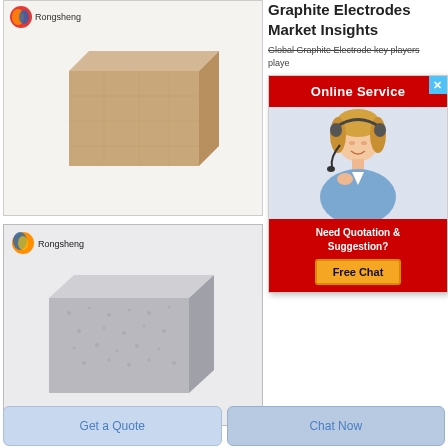[Figure (photo): First product image: a light tan/beige rectangular refractory brick on white background, with Rongsheng logo in top-left corner]
[Figure (photo): Second product image: a light gray foam/porous rectangular block on gray background, with Rongsheng logo (sphere) and text in top-left]
Graphite Electrodes Market Insights
Global Graphite Electrode key players...
[Figure (screenshot): Online Service popup overlay with red header, close button, agent photo, 'Need Quotation & Suggestion?' text in red footer, and yellow 'Free Chat' button]
Get a Quote
Chat Now